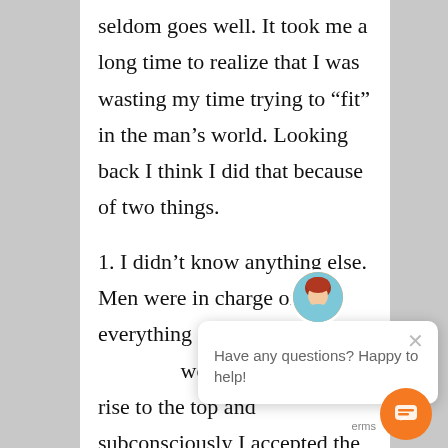seldom goes well. It took me a long time to realize that I was wasting my time trying to “fit” in the man’s world. Looking back I think I did that because of two things.
1. I didn’t know anything else. Men were in charge of everything in [obscured] women seemed to rise to the top and subconsciously I accepted the system as it was.
[Figure (screenshot): Chat widget popup with avatar of a woman with red hair, close button (x), text 'Have any questions? Happy to help!', and an orange circular chat button in the bottom right corner with 'Terms' label.]